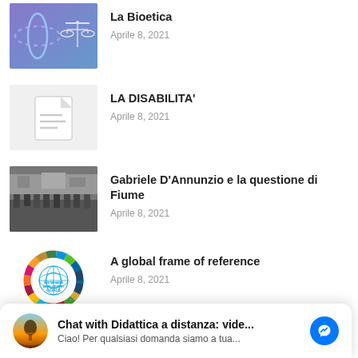[Figure (photo): Blue-toned image with DNA helix and scales of justice]
La Bioetica
Aprile 8, 2021
[Figure (illustration): Gray placeholder with document/file icon]
LA DISABILITA'
Aprile 8, 2021
[Figure (photo): Black and white historical photo of soldiers/military parade]
Gabriele D'Annunzio e la questione di Fiume
Aprile 8, 2021
[Figure (logo): UN Sustainable Development Goals colorful circular logo]
A global frame of reference
Aprile 8, 2021
Chat with Didattica a distanza: vide...
Ciao! Per qualsiasi domanda siamo a tua...